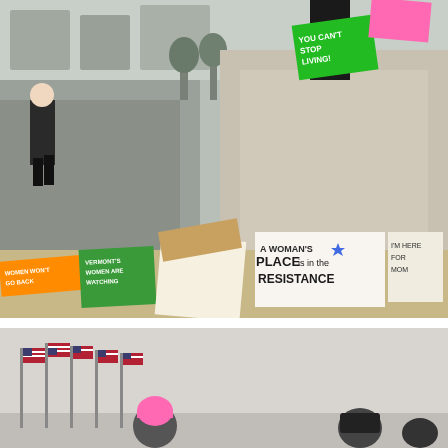[Figure (photo): Protest scene at a monument/statue base covered with protest signs. Signs read: 'YOU CAN'T STOP LIVING!', 'VERMONT'S WOMEN ARE WATCHING', 'A WOMAN'S PLACE is in the RESISTANCE' (with blue star), 'I'M HERE FOR MOM', and others. A woman walks by on the left side.]
[Figure (photo): Overcast outdoor scene with American flags on flagpoles on the left, and protesters wearing pink 'pussy hats' visible in the lower portion of the frame against a light grey sky background.]